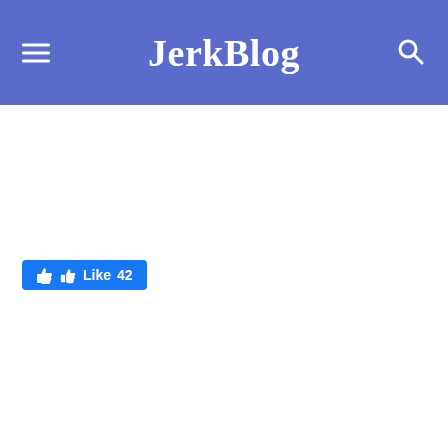JerkBlog
[Figure (other): Facebook Like button showing thumbs up icon with 'Like 42' text on blue background]